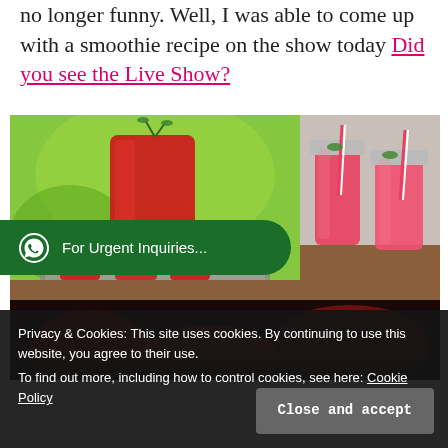no longer funny. Well, I was able to come up with a smoothie recipe on the show today Did you see the Live Show?
[Figure (photo): Two photos side by side: left shows a tall glass of red drink/juice on a tray with smaller red drinks and ice, set outdoors with green background; right shows mason jars filled with pink/red drink with straws.]
For Urgent Inquiries...
[Figure (photo): Partial photo of red fruit drinks/smoothies at the bottom of the page.]
Privacy & Cookies: This site uses cookies. By continuing to use this website, you agree to their use.
To find out more, including how to control cookies, see here: Cookie Policy
Close and accept